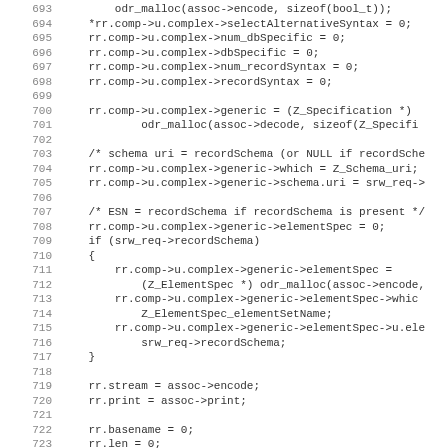Source code listing lines 693-724 (C code for SRW record composition)